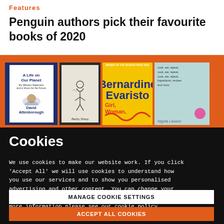Features
Penguin authors pick their favourite books of 2020
[Figure (photo): A row of book covers including 'A Life on Our Planet' by David Attenborough, a sketch-cover book, 'Girl, Woman, Other' by Bernardine Evaristo, and a Nigella Lawson cookbook, displayed on an orange background]
Cookies
We use cookies to make our website work. If you click 'Accept All' we will use cookies to understand how you use our services and to show you personalised advertising and other content. You can change your cookie settings by clicking 'Manage Cookies'. For more information please see our cookie policy
MANAGE COOKIE SETTINGS
ACCEPT ALL COOKIES